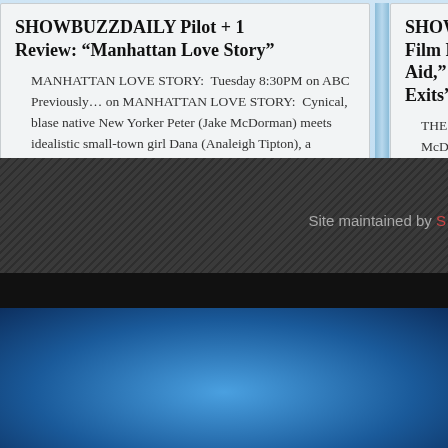SHOWBUZZDAILY Pilot + 1 Review: “Manhattan Love Story”
MANHATTAN LOVE STORY:  Tuesday 8:30PM on ABC Previously… on MANHATTAN LOVE STORY:  Cynical, blase native New Yorker Peter (Jake McDorman) meets idealistic small-town girl Dana (Analeigh Tipton), a newcomer to tow...
BY MITCH SALEM    FULL STORY »
SHOWBUZZ Film Festival Aid,” “The Di Exits”
THE DISCOVER McDowell’s first fil metaphysical farce was plenty of reas follow-up.  He (and
BY MITCH SALEM
Site maintained by S